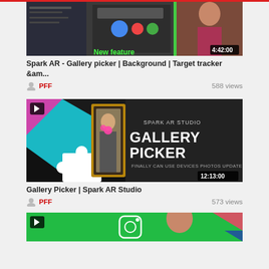[Figure (screenshot): Video thumbnail for Spark AR - Gallery picker | Background | Target tracker with duration badge 4:42:00, partially cropped at top]
Spark AR - Gallery picker | Background | Target tracker &am...
PFF   588 views
[Figure (screenshot): Video thumbnail for Gallery Picker | Spark AR Studio showing a person in a golden frame with pink AR effect, duration 12:13:00]
Gallery Picker | Spark AR Studio
PFF   573 views
[Figure (screenshot): Video thumbnail partially visible at bottom showing green background with Instagram logo and a person]